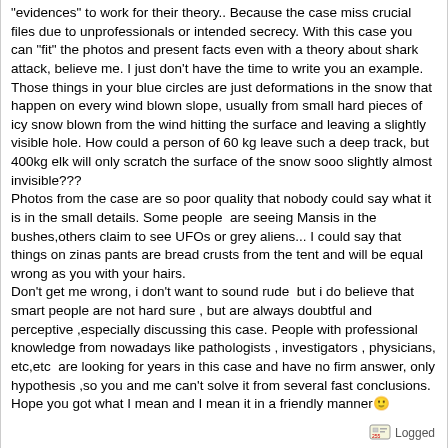"evidences" to work for their theory.. Because the case miss crucial files due to unprofessionals or intended secrecy. With this case you can "fit" the photos and present facts even with a theory about shark attack, believe me. I just don't have the time to write you an example.
Those things in your blue circles are just deformations in the snow that happen on every wind blown slope, usually from small hard pieces of icy snow blown from the wind hitting the surface and leaving a slightly visible hole. How could a person of 60 kg leave such a deep track, but 400kg elk will only scratch the surface of the snow sooo slightly almost invisible???
Photos from the case are so poor quality that nobody could say what it is in the small details. Some people  are seeing Mansis in the bushes,others claim to see UFOs or grey aliens... I could say that things on zinas pants are bread crusts from the tent and will be equal wrong as you with your hairs.
Don't get me wrong, i don't want to sound rude  but i do believe that smart people are not hard sure , but are always doubtful and perceptive ,especially discussing this case. People with professional knowledge from nowadays like pathologists , investigators , physicians, etc,etc  are looking for years in this case and have no firm answer, only hypothesis ,so you and me can't solve it from several fast conclusions. Hope you got what I mean and I mean it in a friendly manner🙂
Logged